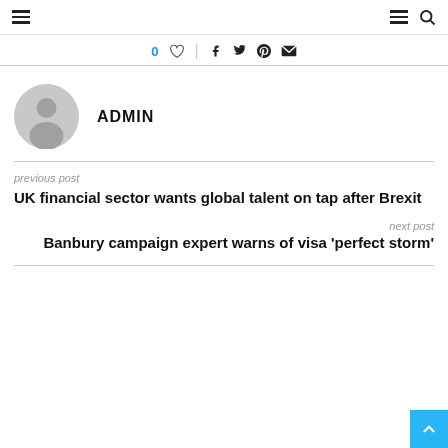Navigation header with hamburger menu and search icons
0 ♡ | f t ℗ ✉
[Figure (illustration): Grey circular avatar/user profile icon placeholder]
ADMIN
previous post
UK financial sector wants global talent on tap after Brexit
next post
Banbury campaign expert warns of visa 'perfect storm'